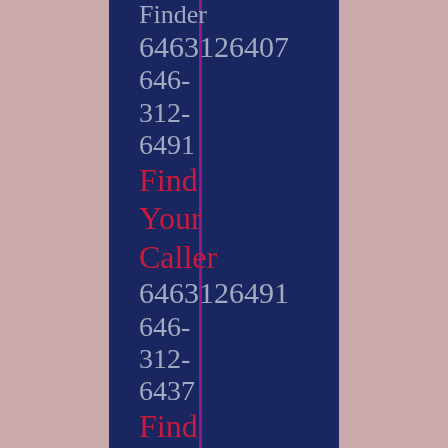Finder
6463126407
646-
312-
6491
Find Your Caller
6463126491
646-
312-
6437
Find Your Caller
6463126437
646-